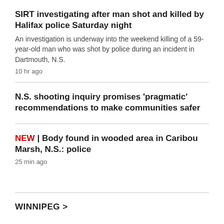SIRT investigating after man shot and killed by Halifax police Saturday night
An investigation is underway into the weekend killing of a 59-year-old man who was shot by police during an incident in Dartmouth, N.S.
10 hr ago
N.S. shooting inquiry promises 'pragmatic' recommendations to make communities safer
NEW | Body found in wooded area in Caribou Marsh, N.S.: police
25 min ago
WINNIPEG >